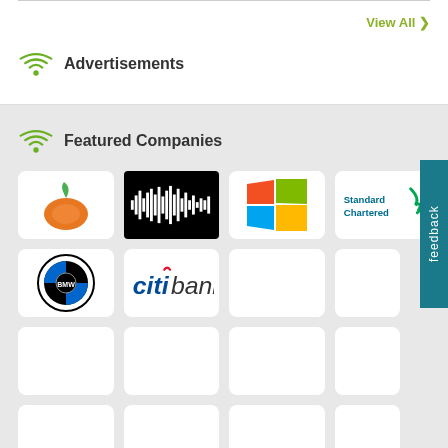View All ❯
Advertisements
Featured Companies
[Figure (logo): Tangerine/orange fruit logo]
[Figure (logo): Music waveform/equalizer logo with black background]
[Figure (logo): Microsoft Windows logo - four colored squares]
[Figure (logo): Standard Chartered bank logo]
[Figure (logo): BMW logo]
[Figure (logo): Citibank logo]
[Figure (other): Empty card]
[Figure (other): Empty card]
[Figure (other): Empty card]
[Figure (other): Empty card]
[Figure (other): Empty card]
[Figure (other): Empty card]
[Figure (other): Empty card]
[Figure (other): Empty card]
[Figure (other): Empty card]
[Figure (other): Empty card]